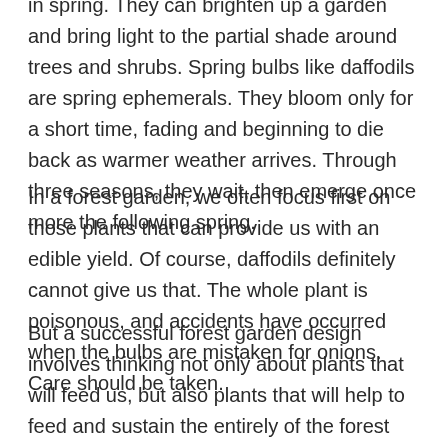in spring. They can brighten up a garden and bring light to the partial shade around trees and shrubs. Spring bulbs like daffodils are spring ephemerals. They bloom only for a short time, fading and beginning to die back as warmer weather arrives. Through three seasons, they wait, then emerge once more the following spring.
In a forest garden, we often focus first on those plants that can provide us with an edible yield. Of course, daffodils definitely cannot give us that. The whole plant is poisonous, and accidents have occurred when the bulbs are mistaken for onions. Care should be taken.
But a successful forest garden design involves thinking not only about plants that will feed us, but also plants that will help to feed and sustain the entirely of the forest garden system.